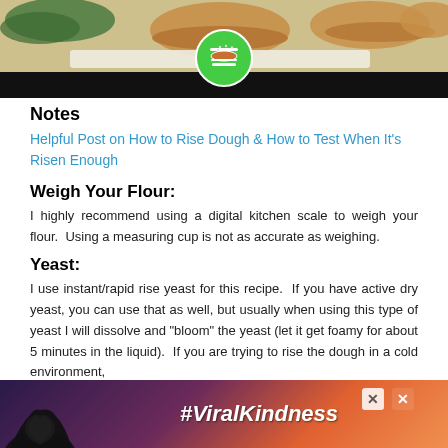[Figure (photo): Food photo showing burger buns and sandwiches on a tray with a green burger icon/logo in the center, and a dark banner below the food image.]
Notes
Helpful Post on How to Rise Dough & How to Test When It's Risen Enough
Weigh Your Flour:
I highly recommend using a digital kitchen scale to weigh your flour.  Using a measuring cup is not as accurate as weighing.
Yeast:
I use instant/rapid rise yeast for this recipe.  If you have active dry yeast, you can use that as well, but usually when using this type of yeast I will dissolve and "bloom" the yeast (let it get foamy for about 5 minutes in the liquid).  If you are trying to rise the dough in a cold environment,
[Figure (screenshot): Advertisement banner with #ViralKindness text over a sunset background with silhouetted hands forming a heart shape.]